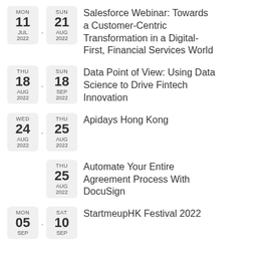MON 11 JUL 2022 . SUN 21 AUG 2022 — Salesforce Webinar: Towards a Customer-Centric Transformation in a Digital-First, Financial Services World
THU 18 AUG 2022 . SUN 18 SEP 2022 — Data Point of View: Using Data Science to Drive Fintech Innovation
WED 24 AUG 2022 . THU 25 AUG 2022 — Apidays Hong Kong
THU 25 AUG 2022 — Automate Your Entire Agreement Process With DocuSign
MON 05 SEP . SAT 10 SEP — StartmeupHK Festival 2022